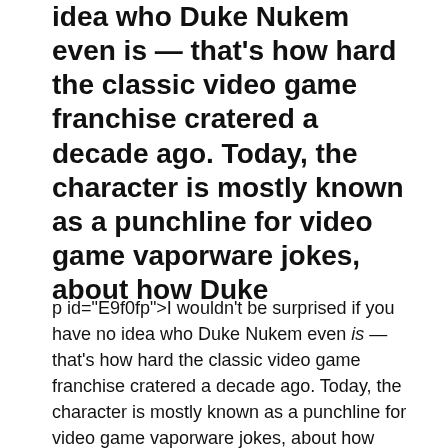idea who Duke Nukem even is — that's how hard the classic video game franchise cratered a decade ago. Today, the character is mostly known as a punchline for video game vaporware jokes, about how Duke
p id="E9f0fp">I wouldn't be surprised if you have no idea who Duke Nukem even is — that's how hard the classic video game franchise cratered a decade ago. Today, the character is mostly known as a punchline for video game vaporware jokes, about how Duke Nukem Forever spent 14 years in development hell only to become a huge flop.